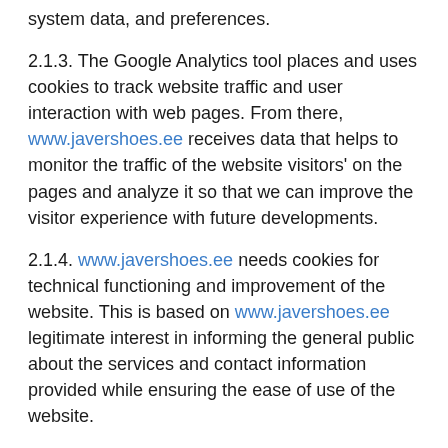system data, and preferences.
2.1.3. The Google Analytics tool places and uses cookies to track website traffic and user interaction with web pages. From there, www.javershoes.ee receives data that helps to monitor the traffic of the website visitors' on the pages and analyze it so that we can improve the visitor experience with future developments.
2.1.4. www.javershoes.ee needs cookies for technical functioning and improvement of the website. This is based on www.javershoes.ee legitimate interest in informing the general public about the services and contact information provided while ensuring the ease of use of the website.
2.1.5. Cookies can be verified and deleted as desired. You can do this in the web browser you are using (the steps in each browser are slightly different, you can find the instructions in this article (in Estonian)). It is possible to